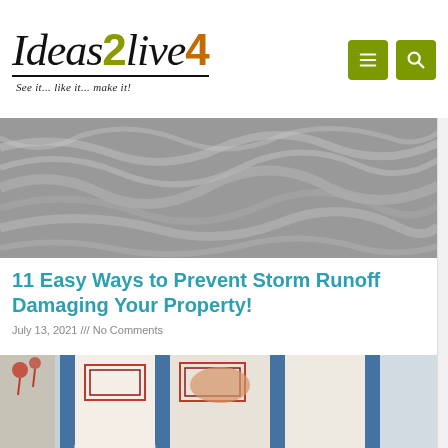Ideas2live4 — See it... like it... make it!
[Figure (photo): Black and white photo of churning storm water runoff flowing rapidly]
11 Easy Ways to Prevent Storm Runoff Damaging Your Property!
July 13, 2021 /// No Comments
[Figure (photo): Colorful handwoven rugs with geometric patterns, a person's hands visible, red tassels in background]